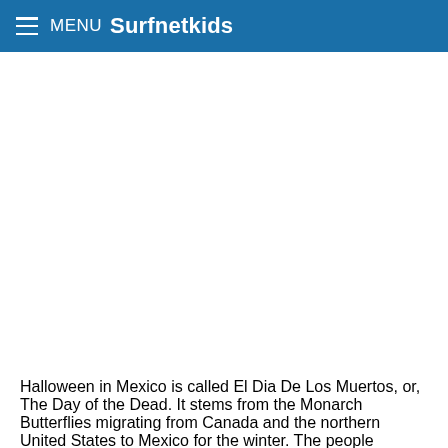MENU Surfnetkids
Halloween in Mexico is called El Dia De Los Muertos, or, The Day of the Dead. It stems from the Monarch Butterflies migrating from Canada and the northern United States to Mexico for the winter. The people